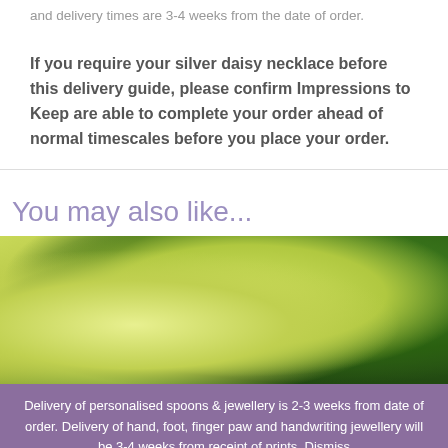and delivery times are 3-4 weeks from the date of order.
If you require your silver daisy necklace before this delivery guide, please confirm Impressions to Keep are able to complete your order ahead of normal timescales before you place your order.
You may also like...
[Figure (photo): Close-up photo of flowers or petals with yellow-green and dark green colors, likely a product image for jewellery]
Delivery of personalised spoons & jewellery is 2-3 weeks from date of order. Delivery of hand, foot, finger paw and handwriting jewellery will be 3-4 weeks from receipt of prints. Dismiss